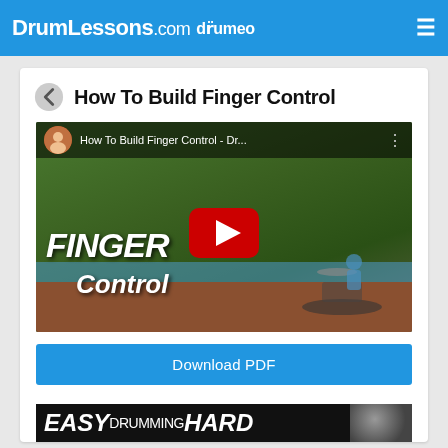DrumLessons.com drumeo
How To Build Finger Control
[Figure (screenshot): YouTube video thumbnail for 'How To Build Finger Control - Dr...' showing two people at a drum kit by a pool, with large text 'FINGER Control' overlay and a YouTube play button in the center]
Download PDF
[Figure (screenshot): Bottom banner showing 'EASY DRUMMING HARD' text logo in white on black background, with a small drum image thumbnail on the right]